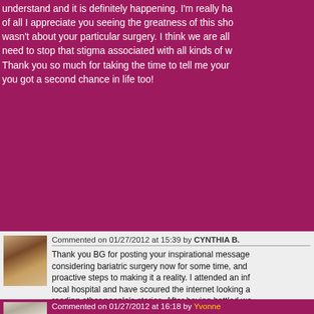understand and it is definitely happening. I'm really ha of all I appreciate you seeing the greatness of this sho wasn't about your particular surgery. I think we are all need to stop that stigma associated with all kinds of w Thank you so much for taking the time to tell me your you got a second chance in life too!
Commented on 01/27/2012 at 15:39 by CYNTHIA B.
Thank you BG for posting your inspirational message considering bariatric surgery now for some time, and proactive steps to making it a reality. I attended an inf local hospital and have scoured the internet looking a reading other people's stories. After having battled we years, it is time to take the plunge. I am currently 5'6" been on high blood pressure meds for about 2 years not diabetic, it runs in my family, and I don't want to g am ready! Your story is so moving. Thanks again.
Commented on 01/27/2012 at 16:18 by Yvonne